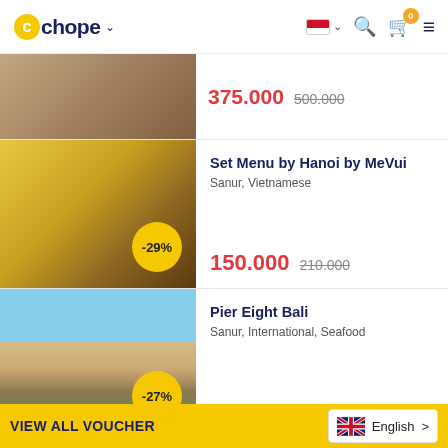Chope - restaurant booking app header with logo, flag, search, cart, and menu icons
[Figure (screenshot): Partial restaurant listing image at top showing wicker furniture/restaurant interior, price 375.000 with strikethrough 500.000]
375.000  500.000
[Figure (photo): Vietnamese food spread with pho, spring rolls, bread on yellow background. Badge showing -29%]
Set Menu by Hanoi by MeVui
Sanur, Vietnamese
150.000  210.000
[Figure (photo): Outdoor beach restaurant Pier Eight Bali with palm trees, sea view, white pavilion. Badge showing -27%]
Pier Eight Bali
Sanur, International, Seafood
73.000  100.000
[Figure (photo): Partial image of fourth restaurant listing]
VIEW ALL VOUCHER   English >